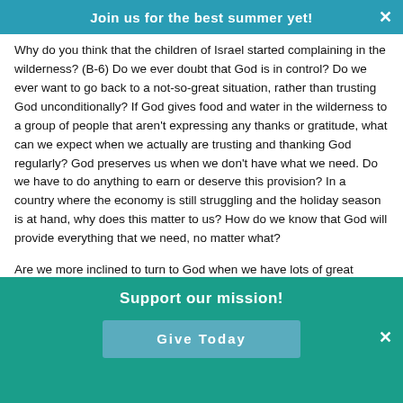Join us for the best summer yet!
Why do you think that the children of Israel started complaining in the wilderness? (B-6) Do we ever doubt that God is in control? Do we ever want to go back to a not-so-great situation, rather than trusting God unconditionally? If God gives food and water in the wilderness to a group of people that aren't expressing any thanks or gratitude, what can we expect when we actually are trusting and thanking God regularly? God preserves us when we don't have what we need. Do we have to do anything to earn or deserve this provision? In a country where the economy is still struggling and the holiday season is at hand, why does this matter to us? How do we know that God will provide everything that we need, no matter what?
Are we more inclined to turn to God when we have lots of great things going on around us, or when we have challenges? (S-9) Think about when a child turns to his or her parents. What would a
Support our mission!
Give Today